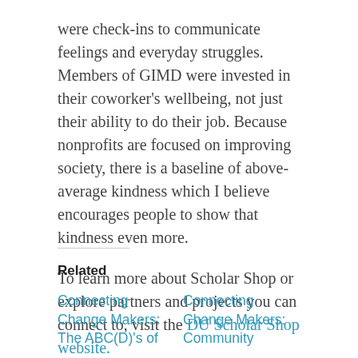were check-ins to communicate feelings and everyday struggles. Members of GIMD were invested in their coworker's wellbeing, not just their ability to do their job. Because nonprofits are focused on improving society, there is a baseline of above-average kindness which I believe encourages people to show that kindness even more.
To learn more about Scholar Shop or explore partners and projects you can connect to, visit the DU Scholar Shop website.
Related
Connecting Change Makers: The ABC(D)'s of
Connecting Change Makers: Community